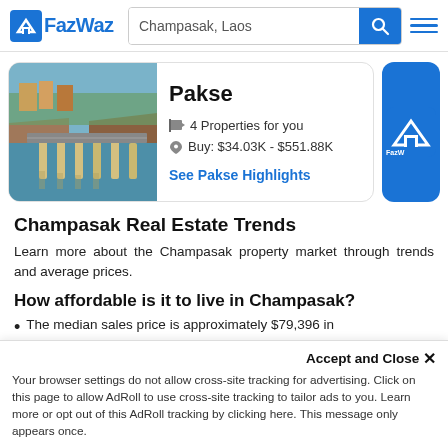FazWaz — Champasak, Laos
[Figure (screenshot): Pakse city aerial photo showing a bridge over a river]
Pakse
4 Properties for you
Buy: $34.03K - $551.88K
See Pakse Highlights
Champasak Real Estate Trends
Learn more about the Champasak property market through trends and average prices.
How affordable is it to live in Champasak?
The median sales price is approximately $79,396 in
Accept and Close ×
Your browser settings do not allow cross-site tracking for advertising. Click on this page to allow AdRoll to use cross-site tracking to tailor ads to you. Learn more or opt out of this AdRoll tracking by clicking here. This message only appears once.